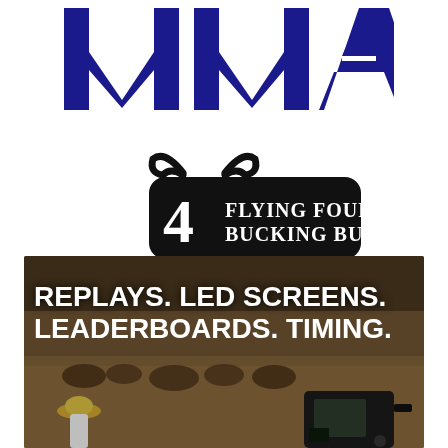[Figure (logo): MMA logo in dark navy/indigo block letters]
[Figure (logo): Flying Four Bucking Bulls brand logo - black badge with horns, number 4, and text FLYING FOUR BUCKING BULLS in white serif font]
[Figure (photo): Photo of a rodeo/cattle arena with overlaid white bold text: REPLAYS. LED SCREENS. LEADERBOARDS. TIMING. Camera equipment visible in foreground, cowboys and cattle in background.]